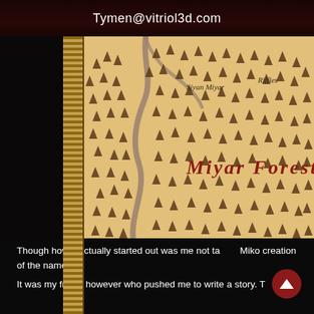Tymen@vitriol3d.com
[Figure (map): A fantasy map showing Miyar Forest with many small pine tree symbols scattered across a parchment-colored background. A winding river/path runs through the left-center of the map. Place names visible include 'Siyan Miyar' and 'Riffles' in the upper area, 'Miyar Forest' in large red italic text in the center, and partial text 'MIK' in large letters at the bottom right. The map has an ornamental border on the left and bottom edges with a repeating diamond/circle pattern. The map is framed by a dark wood border.]
Though how it actually started out was me not ta    Miko creation of the name.
It was my friend however who pushed me to write a story. T